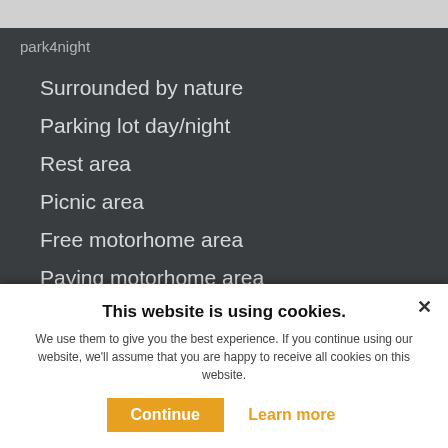park4night
Surrounded by nature
Parking lot day/night
Rest area
Picnic area
Free motorhome area
Paying motorhome area
Private car park for campers
Off road (4x4)
On the farm (farm, vineyard ...)
Camping
Service area
Dump station
Homestays accommodation
Extra services
This website is using cookies. We use them to give you the best experience. If you continue using our website, we'll assume that you are happy to receive all cookies on this website.
Continue   Learn more